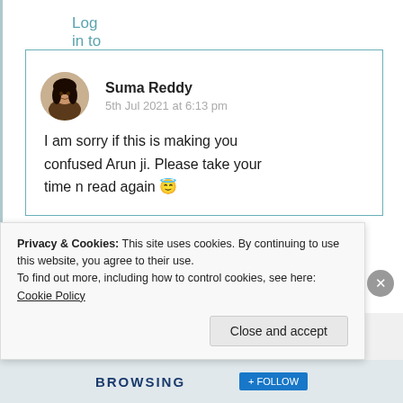Log in to Reply
[Figure (photo): Circular avatar photo of Suma Reddy, a woman with long dark hair]
Suma Reddy
5th Jul 2021 at 6:13 pm
I am sorry if this is making you confused Arun ji. Please take your time n read again 😇
Privacy & Cookies: This site uses cookies. By continuing to use this website, you agree to their use.
To find out more, including how to control cookies, see here: Cookie Policy
Close and accept